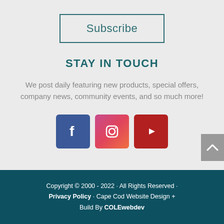Subscribe
STAY IN TOUCH
We post daily featuring new products, special offers, company news, community events, and so much more!
[Figure (illustration): Three social media icons: Facebook (blue), Instagram (pink/red gradient), YouTube (dark red)]
Copyright © 2000 - 2022 · All Rights Reserved · Privacy Policy · Cape Cod Website Design + Build By COLEwebdev